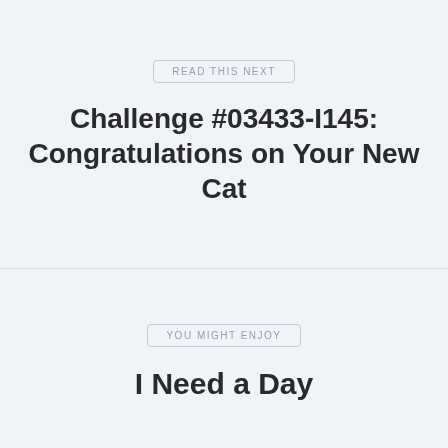READ THIS NEXT
Challenge #03433-I145: Congratulations on Your New Cat
YOU MIGHT ENJOY
I Need a Day